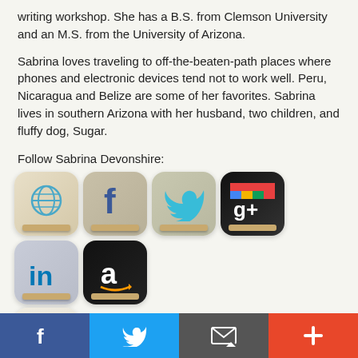writing workshop. She has a B.S. from Clemson University and an M.S. from the University of Arizona.
Sabrina loves traveling to off-the-beaten-path places where phones and electronic devices tend not to work well. Peru, Nicaragua and Belize are some of her favorites. Sabrina lives in southern Arizona with her husband, two children, and fluffy dog, Sugar.
Follow Sabrina Devonshire:
[Figure (infographic): Row of 6 social media icon buttons (globe/website, Facebook, Twitter, Google+, LinkedIn, Amazon) and one Goodreads icon below, all rendered as rounded square app-style icons with a wooden shelf base.]
back to top
Giveaway and Tour Stops
[Figure (infographic): Bottom navigation bar with four buttons: Facebook (blue), Twitter (blue), Email/subscribe (dark grey), and plus/share (red-orange).]